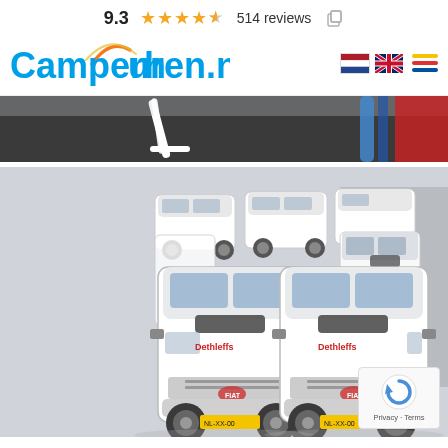9.3 ★★★★½ 514 reviews
[Figure (logo): Camperhuren.nl logo with orange arc above the letters, in blue text. Dutch and UK flags shown to the right, alongside a hamburger menu icon with yellow, red, and blue stripes.]
[Figure (photo): Partial top photo showing dark parking lot surface with a white canopy/awning arm on the left and blue and red equipment on the right.]
[Figure (photo): Aerial view of a fleet of white Dethleffs motorhomes/campervans parked in a lot. Two large campervans in the foreground and several smaller ones behind them, all white with red Dethleffs branding.]
Privacy · Terms